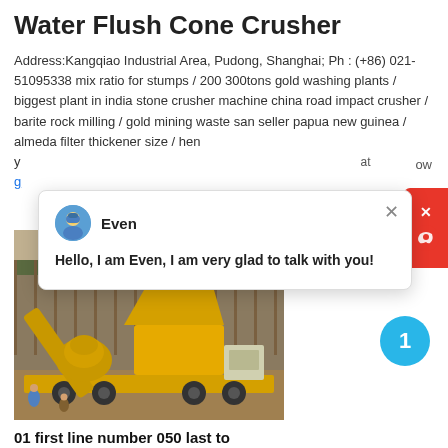Water Flush Cone Crusher
Address:Kangqiao Industrial Area, Pudong, Shanghai; Ph : (+86) 021-51095338 mix ratio for stumps / 200 300tons gold washing plants / biggest plant in india stone crusher machine china road impact crusher / barite rock milling / gold mining waste san seller papua new guinea / almeda filter thickener size / hen y at ow
g
[Figure (photo): Yellow mobile stone crusher / screening plant on a trailer at a construction site, with workers visible in the background]
01 first line number 050 last to